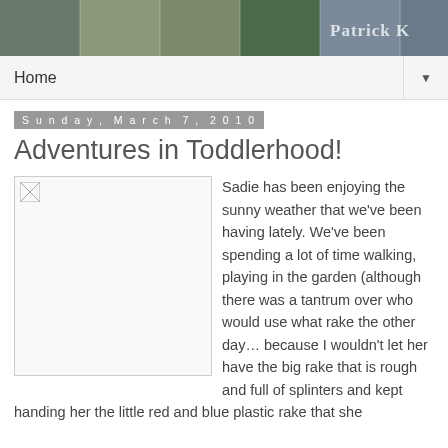[Figure (photo): Header banner with multiple photos of people outdoors; text overlay reading 'Patrick K' on right side]
Home ▼
Sunday, March 7, 2010
Adventures in Toddlerhood!
[Figure (photo): Placeholder image (broken/missing) in a bordered box floated left]
Sadie has been enjoying the sunny weather that we've been having lately. We've been spending a lot of time walking, playing in the garden (although there was a tantrum over who would use what rake the other day… because I wouldn't let her have the big rake that is rough and full of splinters and kept handing her the little red and blue plastic rake that she usually loves), and playing chase on the floor. It is on the...